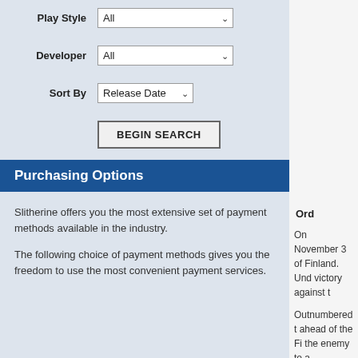Play Style  All
Developer  All
Sort By  Release Date
BEGIN SEARCH
Purchasing Options
Slitherine offers you the most extensive set of payment methods available in the industry.

The following choice of payment methods gives you the freedom to use the most convenient payment services.
Ord
On November 3 of Finland. Und victory against t
Outnumbered t ahead of the Fi the enemy to a
This new expan and the Lapland troops from Ge